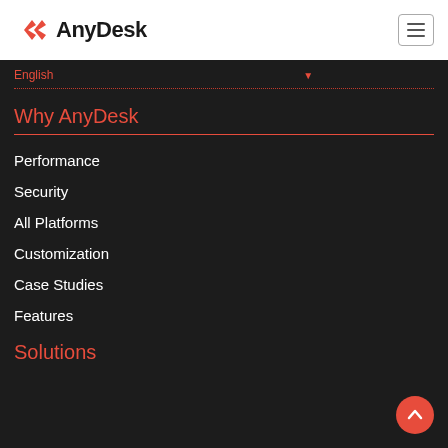AnyDesk
English
Why AnyDesk
Performance
Security
All Platforms
Customization
Case Studies
Features
Solutions